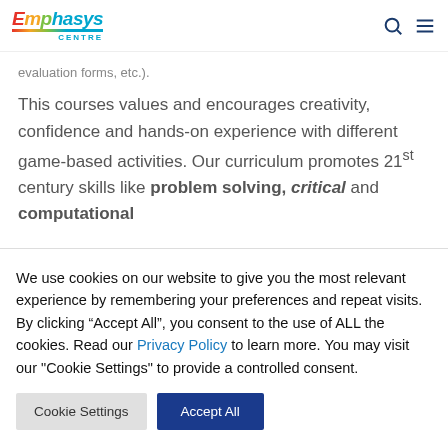Emphasys Centre
evaluation forms, etc.).
This courses values and encourages creativity, confidence and hands-on experience with different game-based activities. Our curriculum promotes 21st century skills like problem solving, critical and computational
We use cookies on our website to give you the most relevant experience by remembering your preferences and repeat visits. By clicking “Accept All”, you consent to the use of ALL the cookies. Read our Privacy Policy to learn more. You may visit our "Cookie Settings" to provide a controlled consent.
Cookie Settings
Accept All